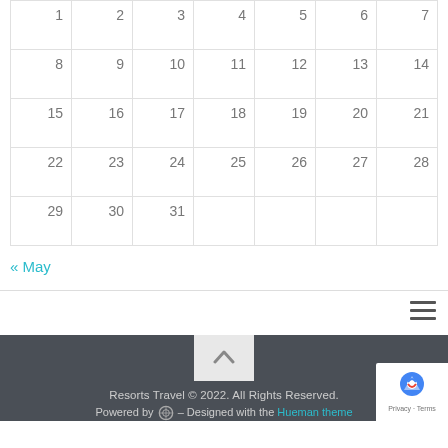| 1 | 2 | 3 | 4 | 5 | 6 | 7 |
| 8 | 9 | 10 | 11 | 12 | 13 | 14 |
| 15 | 16 | 17 | 18 | 19 | 20 | 21 |
| 22 | 23 | 24 | 25 | 26 | 27 | 28 |
| 29 | 30 | 31 |  |  |  |  |
<< May
Resorts Travel © 2022. All Rights Reserved.
Powered by [WP] – Designed with the Hueman theme